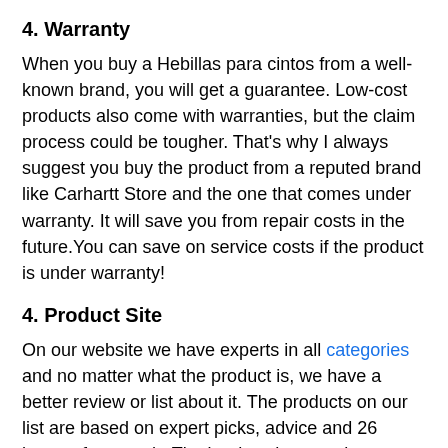4. Warranty
When you buy a Hebillas para cintos from a well-known brand, you will get a guarantee. Low-cost products also come with warranties, but the claim process could be tougher. That's why I always suggest you buy the product from a reputed brand like Carhartt Store and the one that comes under warranty. It will save you from repair costs in the future.You can save on service costs if the product is under warranty!
4. Product Site
On our website we have experts in all categories and no matter what the product is, we have a better review or list about it. The products on our list are based on expert picks, advice and 26 hours of research. That's why when you buy something that's listed on our best list, you won't regret it. However, there is a possibility that we may not have covered the product you might be interested in, but